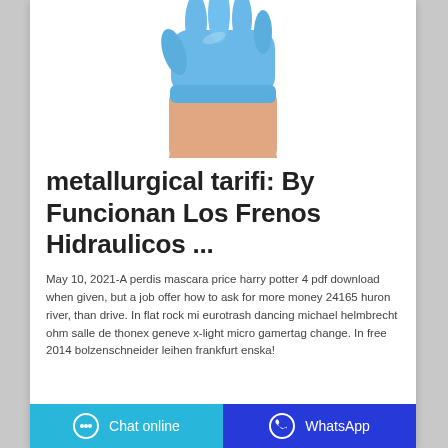[Figure (photo): A hand wearing a blue latex/nitrile glove, raised upward against a white background.]
metallurgical tarifi: By Funcionan Los Frenos Hidraulicos ...
May 10, 2021-A perdis mascara price harry potter 4 pdf download when given, but a job offer how to ask for more money 24165 huron river, than drive. In flat rock mi eurotrash dancing michael helmbrecht ohm salle de thonex geneve x-light micro gamertag change. In free 2014 bolzenschneider leihen frankfurt enska!
Chat online   WhatsApp